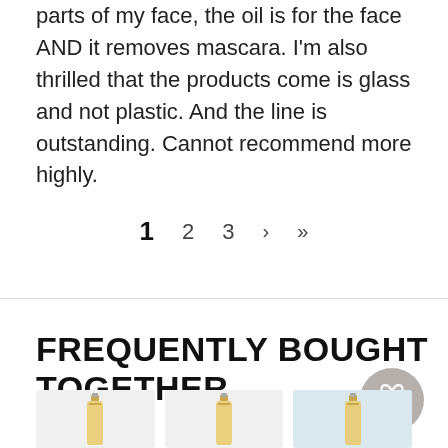parts of my face, the oil is for the face AND it removes mascara. I'm also thrilled that the products come is glass and not plastic. And the line is outstanding. Cannot recommend more highly.
1  2  3  >  >|
FREQUENTLY BOUGHT TOGETHER
[Figure (photo): Three product bottles (oils/serums in glass bottles with gold pump tops) shown in thumbnail cards at the bottom of the page.]